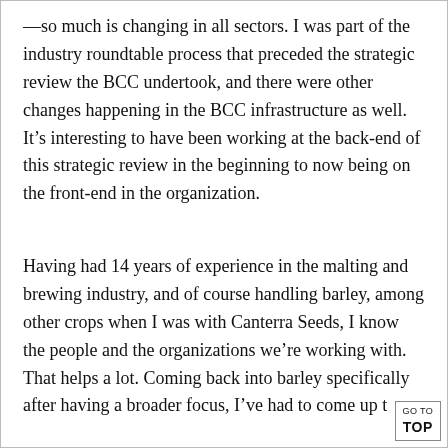—so much is changing in all sectors. I was part of the industry roundtable process that preceded the strategic review the BCC undertook, and there were other changes happening in the BCC infrastructure as well. It's interesting to have been working at the back-end of this strategic review in the beginning to now being on the front-end in the organization.
Having had 14 years of experience in the malting and brewing industry, and of course handling barley, among other crops when I was with Canterra Seeds, I know the people and the organizations we're working with. That helps a lot. Coming back into barley specifically after having a broader focus, I've had to come up to